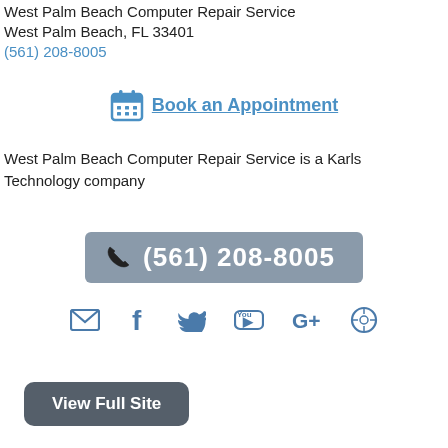West Palm Beach Computer Repair Service
West Palm Beach, FL 33401
(561) 208-8005
Book an Appointment
West Palm Beach Computer Repair Service is a Karls Technology company
[Figure (other): Phone number button with handset icon: (561) 208-8005]
[Figure (other): Social media icons row: email, Facebook, Twitter, YouTube, Google+, WordPress]
View Full Site